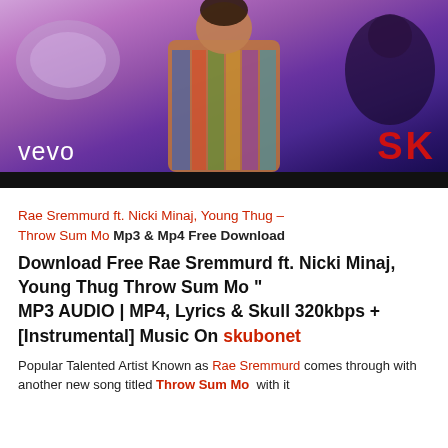[Figure (photo): Vevo music video thumbnail showing a performer in colorful patterned jacket against a purple-toned background. 'vevo' text in white on lower left, 'SK' in red on lower right, black bar at bottom.]
Rae Sremmurd ft. Nicki Minaj, Young Thug – Throw Sum Mo Mp3 & Mp4 Free Download
Download Free Rae Sremmurd ft. Nicki Minaj, Young Thug Throw Sum Mo " MP3 AUDIO | MP4, Lyrics & Skull 320kbps + [Instrumental] Music On skubonet
Popular Talented Artist Known as Rae Sremmurd comes through with another new song titled Throw Sum Mo  with it